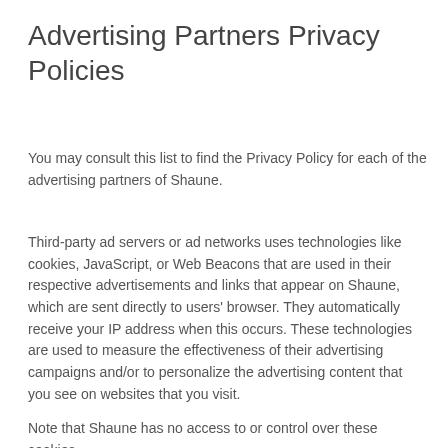Advertising Partners Privacy Policies
You may consult this list to find the Privacy Policy for each of the advertising partners of Shaune.
Third-party ad servers or ad networks uses technologies like cookies, JavaScript, or Web Beacons that are used in their respective advertisements and links that appear on Shaune, which are sent directly to users' browser. They automatically receive your IP address when this occurs. These technologies are used to measure the effectiveness of their advertising campaigns and/or to personalize the advertising content that you see on websites that you visit.
Note that Shaune has no access to or control over these cookies